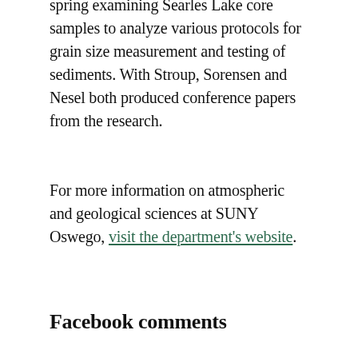spring examining Searles Lake core samples to analyze various protocols for grain size measurement and testing of sediments. With Stroup, Sorensen and Nesel both produced conference papers from the research.
For more information on atmospheric and geological sciences at SUNY Oswego, visit the department's website.
Facebook comments
0 Comments   Sort by Newest